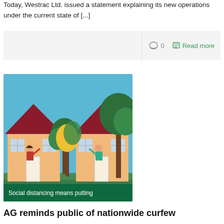Today, Westrac Ltd. issued a statement explaining its new operations under the current state of [...]
0   Read more
[Figure (illustration): Illustration of two cartoon houses with people waving from windows, trees in background, blue sky. Caption text on image: 'Social distancing means putting']
AG reminds public of nationwide curfew
Posted: Wednesday, April 15, 2020. 4:17 pm CST. By BBN Staff: On the Ask the Experts show today, Attorney General Micheal Peyreffite urged the public to [...]
0   Read more